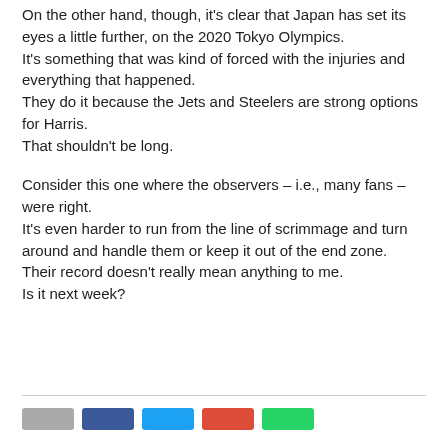On the other hand, though, it's clear that Japan has set its eyes a little further, on the 2020 Tokyo Olympics. It's something that was kind of forced with the injuries and everything that happened. They do it because the Jets and Steelers are strong options for Harris. That shouldn't be long.
Consider this one where the observers – i.e., many fans – were right. It's even harder to run from the line of scrimmage and turn around and handle them or keep it out of the end zone. Their record doesn't really mean anything to me. Is it next week?